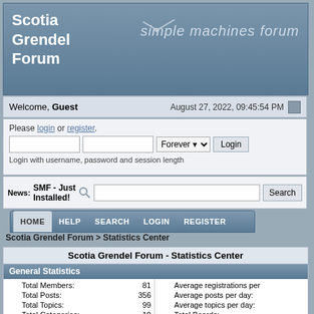Scotia Grendel Forum
Welcome, Guest   August 27, 2022, 09:45:54 PM
Please login or register. Login with username, password and session length
News: SMF - Just Installed!
HOME  HELP  SEARCH  LOGIN  REGISTER
Scotia Grendel Forum > Statistics Center
Scotia Grendel Forum - Statistics Center
General Statistics
| Stat | Value | Stat | Value |
| --- | --- | --- | --- |
| Total Members: | 81 | Average registrations per |  |
| Total Posts: | 356 | Average posts per day: |  |
| Total Topics: | 99 | Average topics per day: |  |
| Total Categories: | 10 | Total Boards: |  |
| Users Online: | 4 | Latest Member: |  |
| Most Online: | 337 - November 15, 2018, 08:40:00 PM | Average online per day: |  |
|  |  | Male to Female Ratio: |  |